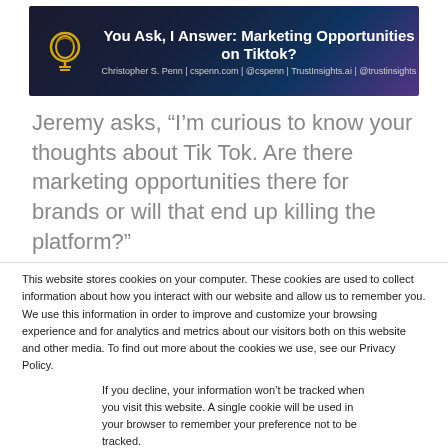[Figure (photo): Banner image with brain/lightbulb icon and text: You Ask, I Answer: Marketing Opportunities on Tiktok? Christopher S. Penn | cspenn.com | @cspenn | TrustInsights.ai | @trustinsights]
Jeremy asks, “I’m curious to know your thoughts about Tik Tok. Are there marketing opportunities there for brands or will that end up killing the platform?”
This website stores cookies on your computer. These cookies are used to collect information about how you interact with our website and allow us to remember you. We use this information in order to improve and customize your browsing experience and for analytics and metrics about our visitors both on this website and other media. To find out more about the cookies we use, see our Privacy Policy.
If you decline, your information won’t be tracked when you visit this website. A single cookie will be used in your browser to remember your preference not to be tracked.
Accept | Decline